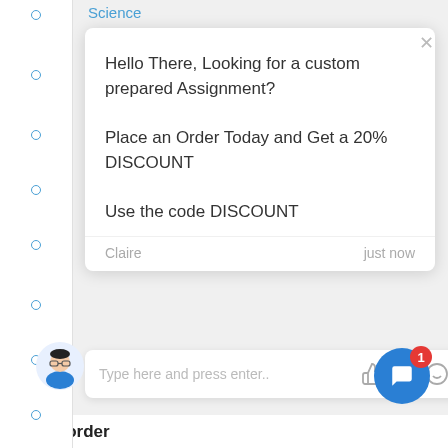Science
Hello There, Looking for a custom prepared Assignment?

Place an Order Today and Get a 20% DISCOUNT

Use the code DISCOUNT
Claire  just now
Type here and press enter..
Place order